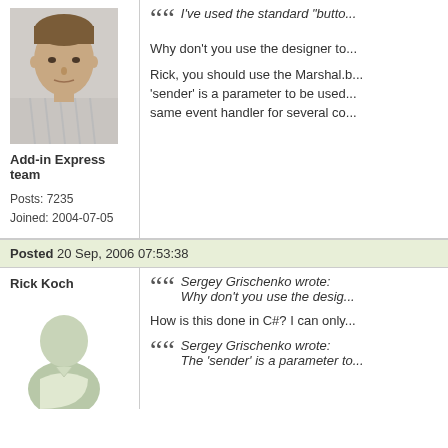[Figure (photo): Headshot photo of a man in a striped shirt, used as forum avatar]
Add-in Express team
Posts: 7235
Joined: 2004-07-05
I've used the standard "butto...
Why don't you use the designer to...
Rick, you should use the Marshal.b... 'sender' is a parameter to be used... same event handler for several co...
Posted 20 Sep, 2006 07:53:38
Rick Koch
[Figure (illustration): Default generic user avatar icon (grey silhouette)]
Sergey Grischenko wrote:
Why don't you use the desig...
How is this done in C#? I can only...
Sergey Grischenko wrote:
The 'sender' is a parameter to...